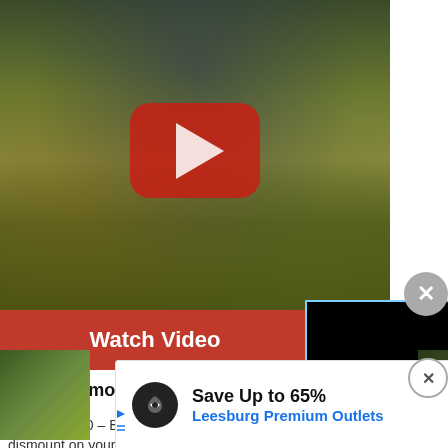[Figure (screenshot): Video thumbnail showing a game scene with grass fields and rocky terrain, overlaid with a large YouTube play button icon in red with white triangle]
Watch Video
[Figure (screenshot): Black video player overlay with mute, pause, and fullscreen controls]
[Figure (illustration): Gray circle close button with X]
Bek’s Dismount Flouris…
Legend – 300 – Blatant Beks – Tactical Item, when you dismount on your normal speeder, you are blasted in to the air.
[Figure (photo): Small game screenshot thumbnail on lower left]
[Figure (screenshot): Advertisement banner: Save Up to 65% Leesburg Premium Outlets]
[Figure (illustration): Ad close button circle with X on right side]